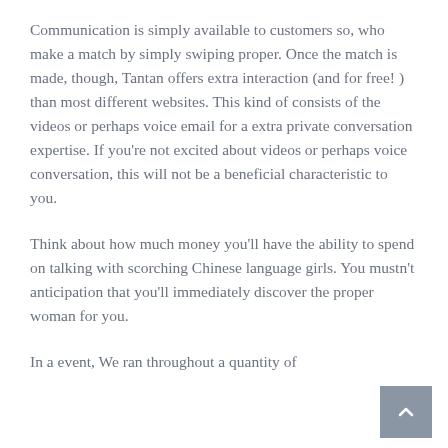Communication is simply available to customers so, who make a match by simply swiping proper. Once the match is made, though, Tantan offers extra interaction (and for free! ) than most different websites. This kind of consists of the videos or perhaps voice email for a extra private conversation expertise. If you're not excited about videos or perhaps voice conversation, this will not be a beneficial characteristic to you.
Think about how much money you'll have the ability to spend on talking with scorching Chinese language girls. You mustn't anticipation that you'll immediately discover the proper woman for you.
In a event, We ran throughout a quantity of